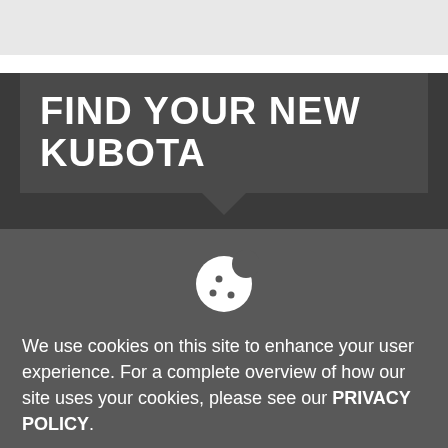FIND YOUR NEW KUBOTA
[Figure (illustration): Cookie icon - white cookie with bite taken out and dark dots]
We use cookies on this site to enhance your user experience. For a complete overview of how our site uses your cookies, please see our PRIVACY POLICY.
HIDE MESSAGE